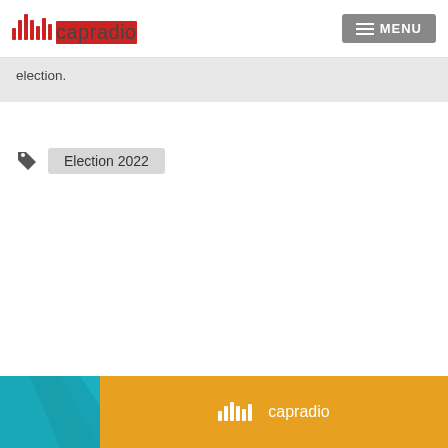capradio | MENU
election.
Election 2022
Kris Hooks
News Editor
[Figure (photo): Portrait photo of Kris Hooks, a bearded man wearing glasses and a dark knit hat, smiling]
[Figure (logo): CapRadio logo and promotional banner in teal and orange]